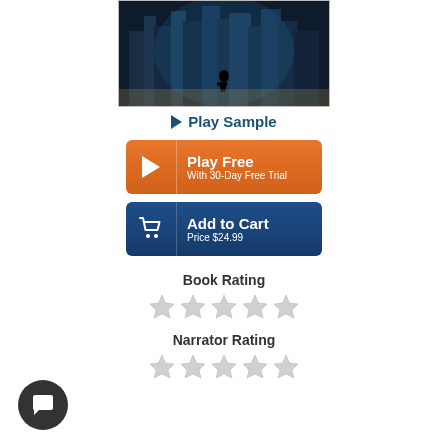[Figure (illustration): Book cover image showing a dark cityscape with a silhouetted figure running, double-exposure style with building reflections]
▶ Play Sample
[Figure (other): Orange Play Free button with play triangle icon and text 'Play Free / With 30-Day Free Trial']
[Figure (other): Blue Add to Cart button with cart icon and text 'Add to Cart / Price $24.99']
Book Rating
[Figure (other): 5 empty star rating icons for Book Rating]
Narrator Rating
[Figure (other): 5 empty star rating icons for Narrator Rating]
[Figure (other): Dark circular chat/widget button in bottom left corner with white speech bubble icon]